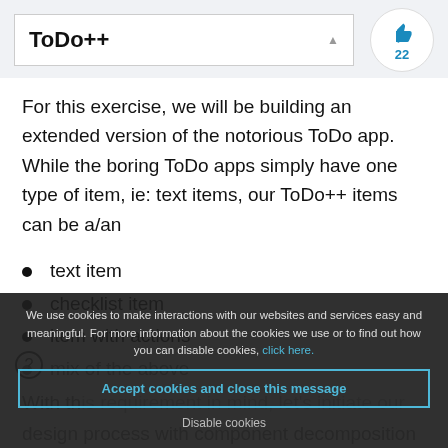ToDo++
For this exercise, we will be building an extended version of the notorious ToDo app. While the boring ToDo apps simply have one type of item, ie: text items, our ToDo++ items can be a/an
text item
checklist item
item with actions
mix of the above
With this requirement in mind, let's initiate our design process with component decomposition
Firstly, we know that we only have one page
We use cookies to make interactions with our websites and services easy and meaningful. For more information about the cookies we use or to find out how you can disable cookies, click here. Accept cookies and close this message Disable cookies